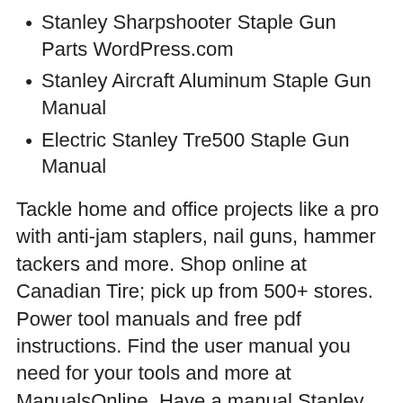Stanley Sharpshooter Staple Gun Parts WordPress.com
Stanley Aircraft Aluminum Staple Gun Manual
Electric Stanley Tre500 Staple Gun Manual
Tackle home and office projects like a pro with anti-jam staplers, nail guns, hammer tackers and more. Shop online at Canadian Tire; pick up from 500+ stores. Power tool manuals and free pdf instructions. Find the user manual you need for your tools and more at ManualsOnline. Have a manual Stanley staple gun. Model# TR250 - m. Stanley Black & Decker Staple Gun TR250. 0 Solutions. Stanley Black & Decker